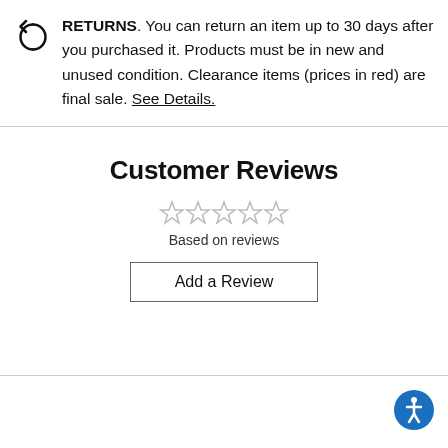RETURNS. You can return an item up to 30 days after you purchased it. Products must be in new and unused condition. Clearance items (prices in red) are final sale. See Details.
Customer Reviews
Based on reviews
Add a Review